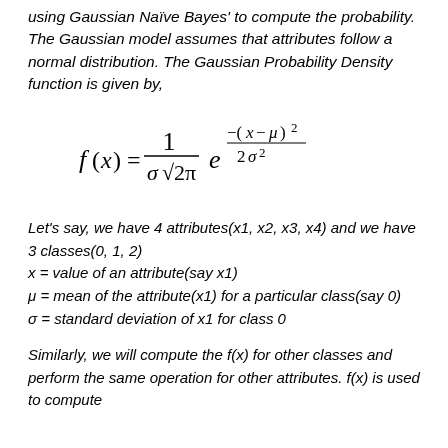using Gaussian Naïve Bayes' to compute the probability. The Gaussian model assumes that attributes follow a normal distribution. The Gaussian Probability Density function is given by,
Let's say, we have 4 attributes(x1, x2, x3, x4) and we have 3 classes(0, 1, 2)
x = value of an attribute(say x1)
μ = mean of the attribute(x1) for a particular class(say 0)
σ = standard deviation of x1 for class 0
Similarly, we will compute the f(x) for other classes and perform the same operation for other attributes. f(x) is used to compute